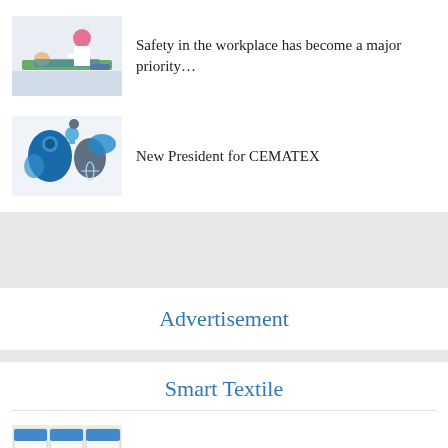[Figure (photo): Medical/clinical photo: person lying on treatment table with medical professional in white coat and pink hijab, white room]
Safety in the workplace has become a major priority…
[Figure (illustration): Blue illustrated graphic showing abstract human heads/faces with speech bubbles, lightbulb, and globe icons]
New President for CEMATEX
Advertisement
Smart Textile
[Figure (photo): Three panel image showing insects/bugs on white backgrounds - scientific/product imagery for Microban DuraTech]
Microban International Introduced DuraTech™ a…